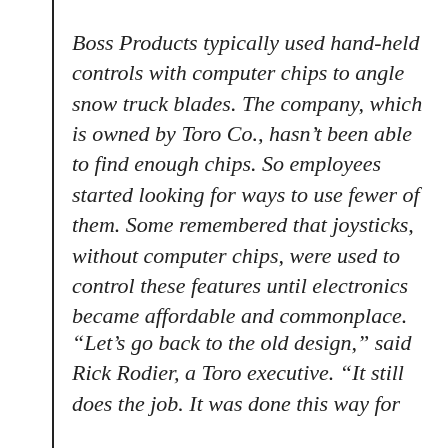Boss Products typically used hand-held controls with computer chips to angle snow truck blades. The company, which is owned by Toro Co., hasn't been able to find enough chips. So employees started looking for ways to use fewer of them. Some remembered that joysticks, without computer chips, were used to control these features until electronics became affordable and commonplace.
“Let’s go back to the old design,” said Rick Rodier, a Toro executive. “It still does the job. It was done this way for